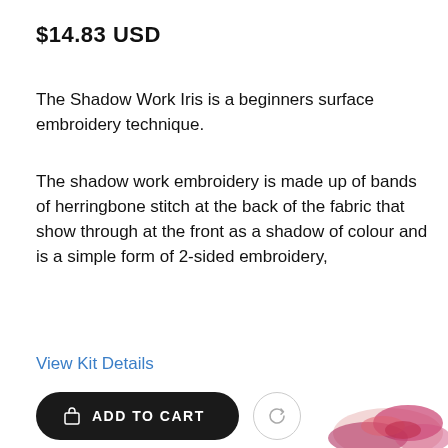$14.83 USD
The Shadow Work Iris is a beginners surface embroidery technique.
The shadow work embroidery is made up of bands of herringbone stitch at the back of the fabric that show through at the front as a shadow of colour and is a simple form of 2-sided embroidery,
View Kit Details
ADD TO CART
[Figure (photo): Partial view of embroidered product (iris/floral in pink/red) at bottom right corner]